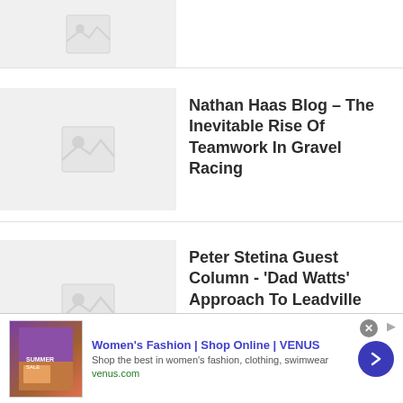[Figure (photo): Partial thumbnail placeholder for an article (top, cropped)]
[Figure (photo): Thumbnail placeholder image with mountain/image icon]
Nathan Haas Blog – The Inevitable Rise Of Teamwork In Gravel Racing
[Figure (photo): Thumbnail placeholder image with mountain/image icon]
Peter Stetina Guest Column - 'Dad Watts' Approach To Leadville Trail 100 MTB And SBT GRV...
[Figure (screenshot): Advertisement banner: Women's Fashion | Shop Online | VENUS. Shop the best in women's fashion, clothing, swimwear. venus.com]